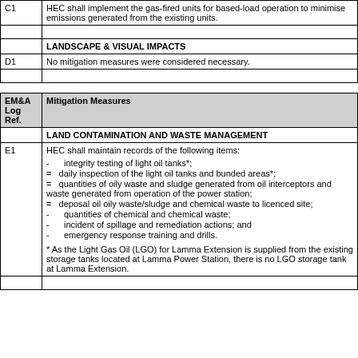|  |  |
| --- | --- |
| C1 | HEC shall implement the gas-fired units for based-load operation to minimise emissions generated from the existing units. |
|  |  |
|  | LANDSCAPE & VISUAL IMPACTS |
| D1 | No mitigation measures were considered necessary. |
|  |  |
| EM&A Log Ref. | Mitigation Measures |
| --- | --- |
|  | LAND CONTAMINATION AND WASTE MANAGEMENT |
| E1 | HEC shall maintain records of the following items:
- integrity testing of light oil tanks*;
= daily inspection of the light oil tanks and bunded areas*;
= quantities of oily waste and sludge generated from oil interceptors and waste generated from operation of the power station;
= deposal oil oily waste/sludge and chemical waste to licenced site;
- quantities of chemical and chemical waste;
- incident of spillage and remediation actions; and
- emergency response training and drills.

* As the Light Gas Oil (LGO) for Lamma Extension is supplied from the existing storage tanks located at Lamma Power Station, there is no LGO storage tank at Lamma Extension. |
|  |  |